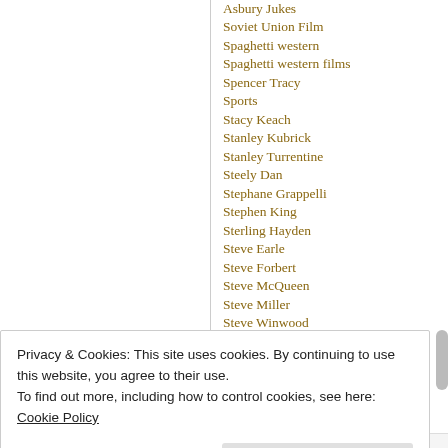Asbury Jukes
Soviet Union Film
Spaghetti western
Spaghetti western films
Spencer Tracy
Sports
Stacy Keach
Stanley Kubrick
Stanley Turrentine
Steely Dan
Stephane Grappelli
Stephen King
Sterling Hayden
Steve Earle
Steve Forbert
Steve McQueen
Steve Miller
Steve Winwood
Stevie Ray Vaughn
Streetwalkers
Privacy & Cookies: This site uses cookies. By continuing to use this website, you agree to their use.
To find out more, including how to control cookies, see here: Cookie Policy
Close and accept